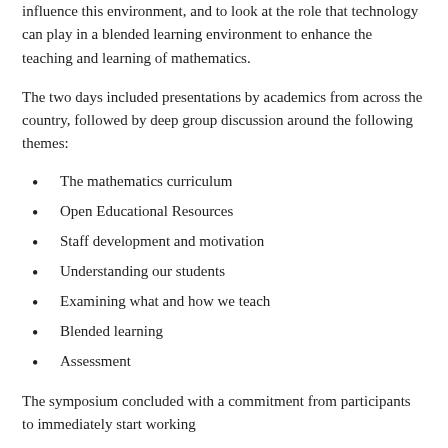influence this environment, and to look at the role that technology can play in a blended learning environment to enhance the teaching and learning of mathematics.
The two days included presentations by academics from across the country, followed by deep group discussion around the following themes:
The mathematics curriculum
Open Educational Resources
Staff development and motivation
Understanding our students
Examining what and how we teach
Blended learning
Assessment
The symposium concluded with a commitment from participants to immediately start working